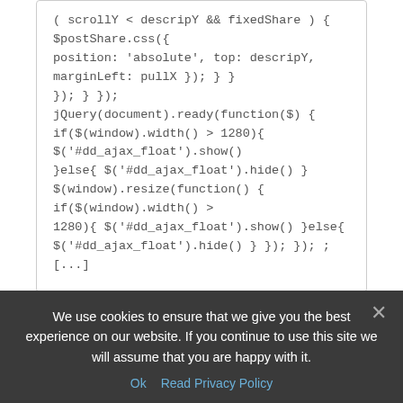( scrollY < descripY && fixedShare ) { $postShare.css({ position: 'absolute', top: descripY, marginLeft: pullX }); } }); } }); jQuery(document).ready(function($) { if($(window).width() > 1280){ $('#dd_ajax_float').show() }else{ $('#dd_ajax_float').hide() } $(window).resize(function() { if($(window).width() > 1280){ $('#dd_ajax_float').show() }else{ $('#dd_ajax_float').hide() } }); }); ; [...]
The Great Geek Manual » Geek Media Round-Up:
We use cookies to ensure that we give you the best experience on our website. If you continue to use this site we will assume that you are happy with it.
Ok   Read Privacy Policy